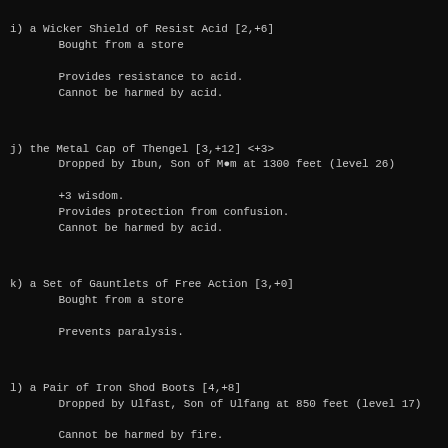i) a Wicker Shield of Resist Acid [2,+6]
     Bought from a store

     Provides resistance to acid.
     Cannot be harmed by acid.
j) the Metal Cap of Thengel [3,+12] <+3>
     Dropped by Ibun, Son of M●m at 1300 feet (level 26)

     +3 wisdom.
     Provides protection from confusion.
     Cannot be harmed by acid.
k) a Set of Gauntlets of Free Action [3,+0]
     Bought from a store

     Prevents paralysis.
l) a Pair of Iron Shod Boots [4,+8]
     Dropped by Ulfast, Son of Ulfang at 850 feet (level 17)

     Cannot be harmed by fire.
[Character Inventory]
a) 3 Holy Books of Prayers [Beginners Handbook]
b) 2 Holy Books of Prayers [Words of Wisdom]
c) 2 Holy Books of Prayers [Chants and Blessings]
d) 2 Holy Books of Prayers [Exorcism and Dispelling]
e) a Mushroom of Emergency
f) 35 Potions of Cure Serious Wounds
g) 31 Potions of Cure Critical Wounds
h) 4 Potions of Speed